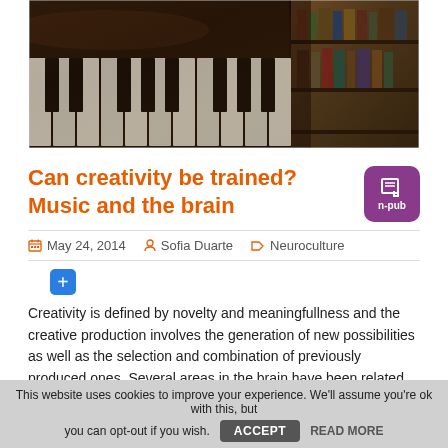[Figure (photo): Close-up photograph of piano keys with bokeh background showing bookshelves]
Can creativity be trained? Music and the brain
[Figure (logo): n-pub purple badge icon]
May 24, 2014  Sofia Duarte  Neuroculture
Creativity is defined by novelty and meaningfullness and the creative production involves the generation of new possibilities as well as the selection and combination of previously produced ones. Several areas in the brain have been related with creativity: dorsolateral prefrontal cortex, the anterior cingulate cortex, the presupplementary motor area, and the inferior frontal gyrus (see [...]
This website uses cookies to improve your experience. We'll assume you're ok with this, but you can opt-out if you wish.  ACCEPT  READ MORE